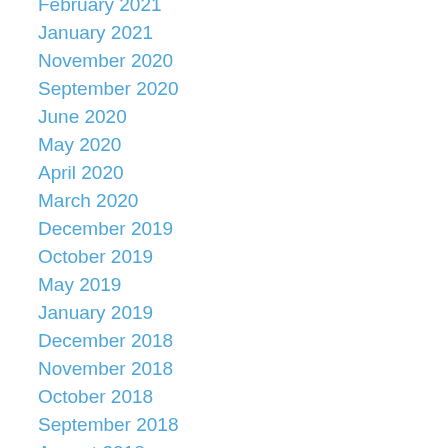February 2021
January 2021
November 2020
September 2020
June 2020
May 2020
April 2020
March 2020
December 2019
October 2019
May 2019
January 2019
December 2018
November 2018
October 2018
September 2018
August 2018
June 2018
March 2018
February 2018